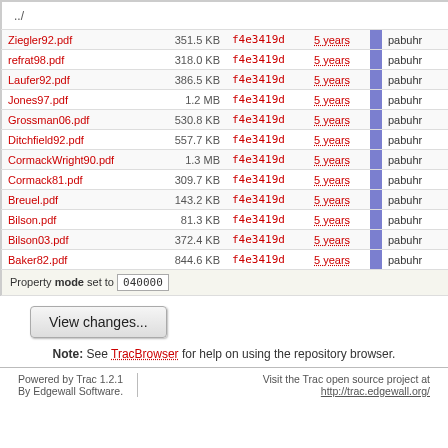| Name | Size | Commit | Age | Author | Description |
| --- | --- | --- | --- | --- | --- |
| ../ |  |  |  |  |  |
| Ziegler92.pdf | 351.5 KB | f4e3419d | 5 years | pabuhr | res |
| refrat98.pdf | 318.0 KB | f4e3419d | 5 years | pabuhr | res |
| Laufer92.pdf | 386.5 KB | f4e3419d | 5 years | pabuhr | res |
| Jones97.pdf | 1.2 MB | f4e3419d | 5 years | pabuhr | res |
| Grossman06.pdf | 530.8 KB | f4e3419d | 5 years | pabuhr | res |
| Ditchfield92.pdf | 557.7 KB | f4e3419d | 5 years | pabuhr | res |
| CormackWright90.pdf | 1.3 MB | f4e3419d | 5 years | pabuhr | res |
| Cormack81.pdf | 309.7 KB | f4e3419d | 5 years | pabuhr | res |
| Breuel.pdf | 143.2 KB | f4e3419d | 5 years | pabuhr | res |
| Bilson.pdf | 81.3 KB | f4e3419d | 5 years | pabuhr | res |
| Bilson03.pdf | 372.4 KB | f4e3419d | 5 years | pabuhr | res |
| Baker82.pdf | 844.6 KB | f4e3419d | 5 years | pabuhr | res |
Property mode set to 040000
View changes...
Note: See TracBrowser for help on using the repository browser.
Powered by Trac 1.2.1 By Edgewall Software. Visit the Trac open source project at http://trac.edgewall.org/